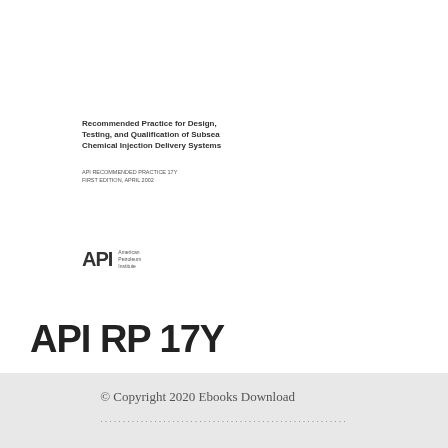Recommended Practice for Design, Testing, and Qualification of Subsea Chemical Injection Delivery Systems
API RECOMMENDED PRACTICE 17Y
FIRST EDITION, APRIL 2002
[Figure (logo): API (American Petroleum Institute) logo with text]
API RP 17Y
© Copyright 2020 Ebooks Download